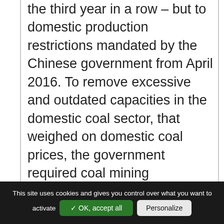the third year in a row – but to domestic production restrictions mandated by the Chinese government from April 2016. To remove excessive and outdated capacities in the domestic coal sector, that weighed on domestic coal prices, the government required coal mining companies to cut operating days from 330 to 276 a year. The new regulation led to a fall in coal production, shortages of coal and a steep increase in domestic coal prices, forcing power utilities to turn to the international market. However, after five years of low prices and reductions in investment, exporters were not able to respond to this sudden demand and international prices
This site uses cookies and gives you control over what you want to activate